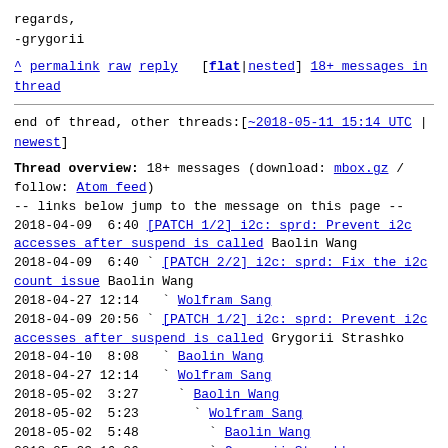regards,
-grygorii
^ permalink raw reply  [flat|nested] 18+ messages in thread
end of thread, other threads:[~2018-05-11 15:14 UTC | newest]
Thread overview: 18+ messages (download: mbox.gz / follow: Atom feed)
-- links below jump to the message on this page --
2018-04-09  6:40 [PATCH 1/2] i2c: sprd: Prevent i2c accesses after suspend is called Baolin Wang
2018-04-09  6:40 ` [PATCH 2/2] i2c: sprd: Fix the i2c count issue Baolin Wang
2018-04-27 12:14   ` Wolfram Sang
2018-04-09 20:56 ` [PATCH 1/2] i2c: sprd: Prevent i2c accesses after suspend is called Grygorii Strashko
2018-04-10  8:08   ` Baolin Wang
2018-04-27 12:14   ` Wolfram Sang
2018-05-02  3:27     ` Baolin Wang
2018-05-02  5:23       ` Wolfram Sang
2018-05-02  5:48         ` Baolin Wang
2018-05-03 16:26         ` Grygorii Strashko
2018-05-04 12:24           ` I2C PM overhaul needed? (Re: [PATCH 1/2] i2c: sprd: Prevent i2c accesses after suspend is called) Wolfram Sang
2018-05-05  1:54             ` Mark Brown